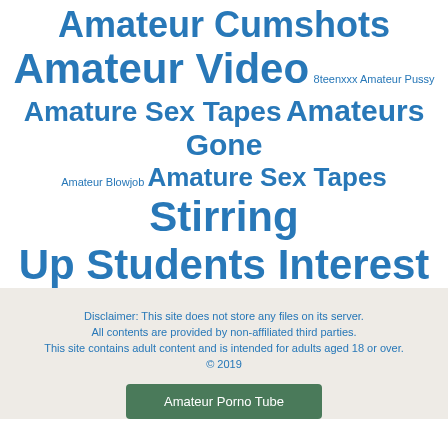[Figure (infographic): Tag cloud with various amateur-related search terms in different sizes, all in blue on white background]
Disclaimer: This site does not store any files on its server. All contents are provided by non-affiliated third parties. This site contains adult content and is intended for adults aged 18 or over. © 2019
Amateur Porno Tube